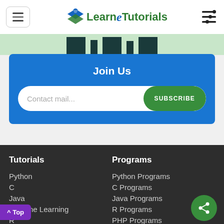Learn eTutorials
[Figure (screenshot): Website header with hamburger menu, Learn eTutorials logo, and settings icon]
Join Us
Contact mail... SUBSCRIBE
Tutorials
Programs
Python
C
Java
Machine Learning
R
Python Programs
C Programs
Java Programs
R Programs
PHP Programs